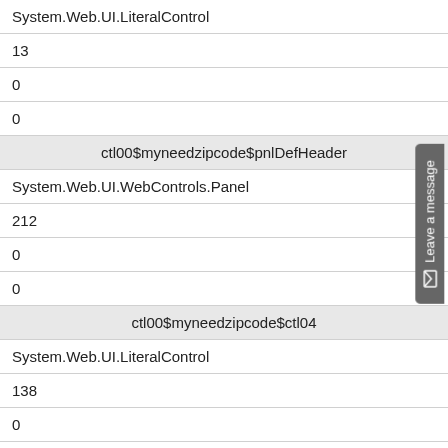| System.Web.UI.LiteralControl |
| 13 |
| 0 |
| 0 |
| ctl00$myneedzipcode$pnlDefHeader |
| System.Web.UI.WebControls.Panel |
| 212 |
| 0 |
| 0 |
| ctl00$myneedzipcode$ctl04 |
| System.Web.UI.LiteralControl |
| 138 |
| 0 |
| 0 |
| ctl00$myneedzipcode$ctl05 |
| System.Web.UI.LiteralControl |